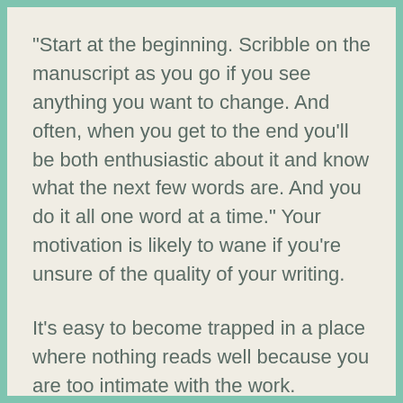“Start at the beginning. Scribble on the manuscript as you go if you see anything you want to change. And often, when you get to the end you’ll be both enthusiastic about it and know what the next few words are. And you do it all one word at a time.” Your motivation is likely to wane if you’re unsure of the quality of your writing.
It’s easy to become trapped in a place where nothing reads well because you are too intimate with the work. Working on other writing projects and creating a space between you and your manuscript reminds you why you’re writing it in the first place, which brings powerful motivation and renewed passion too.
“When you take a break, give your book the best chance to win you back. Read some novels that are like it, to remember why you love that kind of